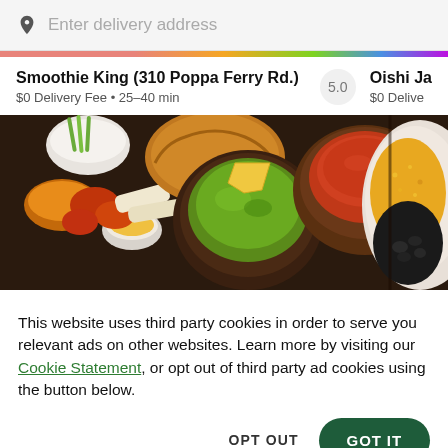Enter delivery address
Smoothie King (310 Poppa Ferry Rd.)  5.0  Oishi Ja
$0 Delivery Fee • 25–40 min   $0 Delive
[Figure (photo): Top-down view of various food dishes including appetizers with dipping sauces on the left, a bowl of guacamole with a tortilla chip in the center, a bowl of tomato soup, and a plate of yellow rice with black beans on the right.]
This website uses third party cookies in order to serve you relevant ads on other websites. Learn more by visiting our Cookie Statement, or opt out of third party ad cookies using the button below.
OPT OUT
GOT IT